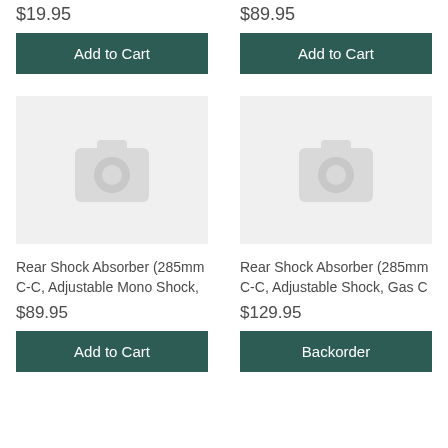$19.95
Add to Cart
$89.95
Add to Cart
[Figure (photo): Placeholder image with camera icon]
Rear Shock Absorber (285mm C-C, Adjustable Mono Shock,
$89.95
Add to Cart
[Figure (photo): Placeholder image with camera icon]
Rear Shock Absorber (285mm C-C, Adjustable Shock, Gas C
$129.95
Backorder